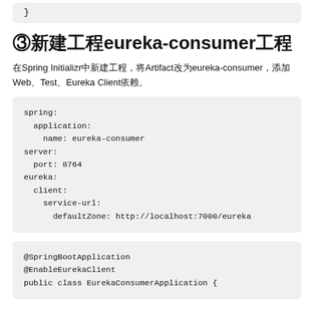}
③新建工程eureka-consumer工程
在Spring Initializr中新建工程，将Artifact改为eureka-consumer，添加Web、Test、Eureka Client依赖。
spring:
  application:
    name: eureka-consumer
server:
  port: 8764
eureka:
  client:
    service-url:
      defaultZone: http://localhost:7000/eureka
@SpringBootApplication
@EnableEurekaClient
public class EurekaConsumerApplication {